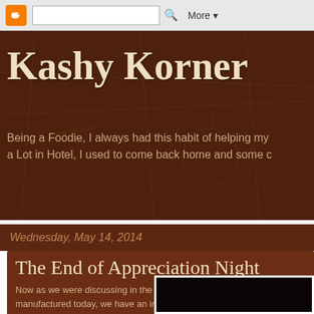Blogger navigation bar with search and More button
Kashy Korner
Being a Foodie, I always had this habit of helping my a Lot in Hotel, I used to come back home and some c
Wednesday, May 14, 2014
The End of Appreciation Night
Now as we were discussing in the previous post about how the Blac manufactured today, we have an interesting story about how and wh regions are perfectly married in it.
[Figure (photo): Dark partially visible photo at bottom right of page]